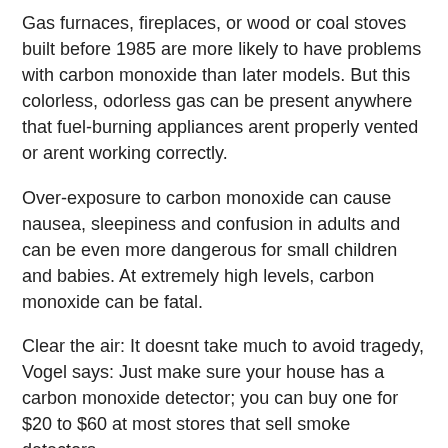Gas furnaces, fireplaces, or wood or coal stoves built before 1985 are more likely to have problems with carbon monoxide than later models. But this colorless, odorless gas can be present anywhere that fuel-burning appliances arent properly vented or arent working correctly.
Over-exposure to carbon monoxide can cause nausea, sleepiness and confusion in adults and can be even more dangerous for small children and babies. At extremely high levels, carbon monoxide can be fatal.
Clear the air: It doesnt take much to avoid tragedy, Vogel says: Just make sure your house has a carbon monoxide detector; you can buy one for $20 to $60 at most stores that sell smoke detectors.
Volatile organic compounds
The distinctive odors produced by new carpet, paint and plywood furniture arent just a sign of home renovation. They also can indicate that your indoor air contains volatile organic